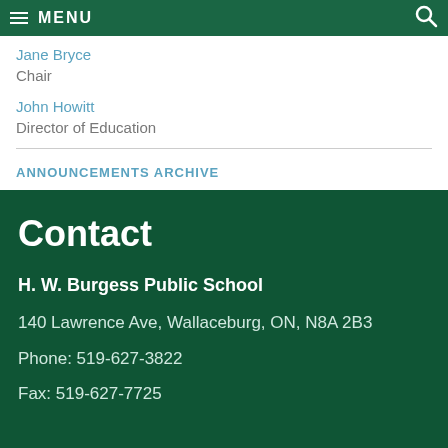MENU
Jane Bryce
Chair
John Howitt
Director of Education
ANNOUNCEMENTS ARCHIVE
Contact
H. W. Burgess Public School
140 Lawrence Ave, Wallaceburg, ON, N8A 2B3
Phone: 519-627-3822
Fax: 519-627-7725